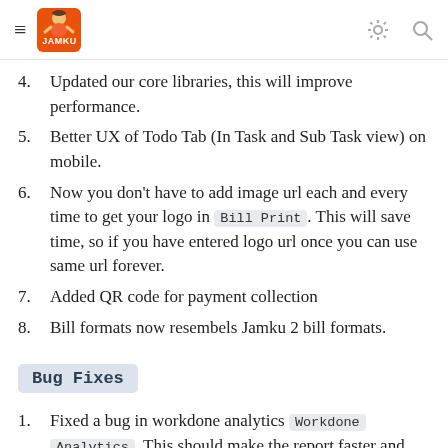JAMKU navigation bar
4. Updated our core libraries, this will improve performance.
5. Better UX of Todo Tab (In Task and Sub Task view) on mobile.
6. Now you don't have to add image url each and every time to get your logo in Bill Print . This will save time, so if you have entered logo url once you can use same url forever.
7. Added QR code for payment collection
8. Bill formats now resembels Jamku 2 bill formats.
Bug Fixes
1. Fixed a bug in workdone analytics Workdone Analytics . This should make the report faster and